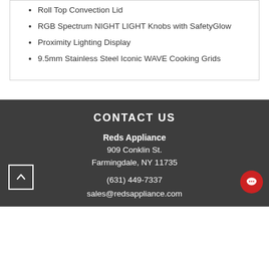Roll Top Convection Lid
RGB Spectrum NIGHT LIGHT Knobs with SafetyGlow
Proximity Lighting Display
9.5mm Stainless Steel Iconic WAVE Cooking Grids
CONTACT US
Reds Appliance
909 Conklin St.
Farmingdale, NY 11735
(631) 449-7337
sales@redsappliance.com